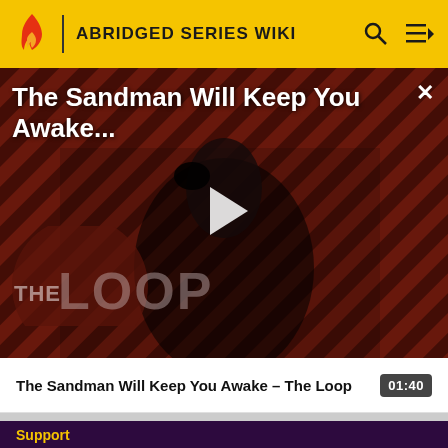ABRIDGED SERIES WIKI
[Figure (screenshot): Video thumbnail showing a dark figure in black cape holding a raven, against a diagonal red and dark stripe background, with 'THE LOOP' watermark overlaid. Play button visible in center. Title overlay reads 'The Sandman Will Keep You Awake...' with a close (X) button.]
The Sandman Will Keep You Awake - The Loop  01:40
Support